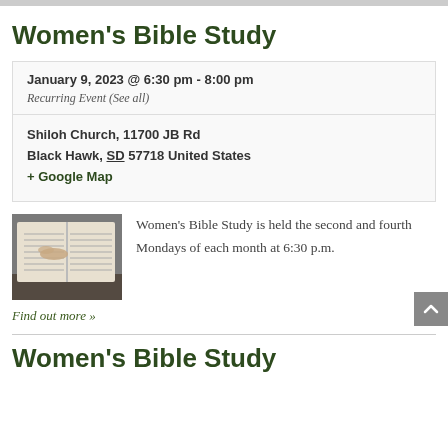Women's Bible Study
January 9, 2023 @ 6:30 pm - 8:00 pm
Recurring Event (See all)
Shiloh Church, 11700 JB Rd Black Hawk, SD 57718 United States + Google Map
[Figure (photo): Hand pointing to an open Bible page]
Women's Bible Study is held the second and fourth Mondays of each month at 6:30 p.m.
Find out more »
Women's Bible Study